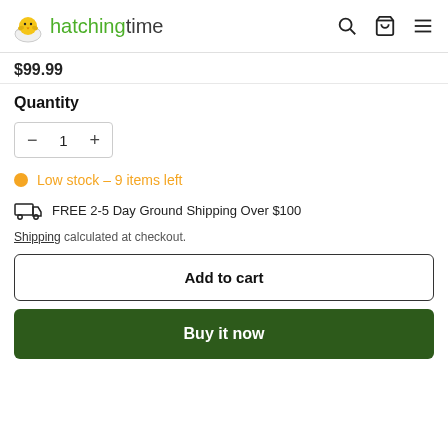hatchingtime
$99.99
Quantity
− 1 +
Low stock – 9 items left
FREE 2-5 Day Ground Shipping Over $100
Shipping calculated at checkout.
Add to cart
Buy it now